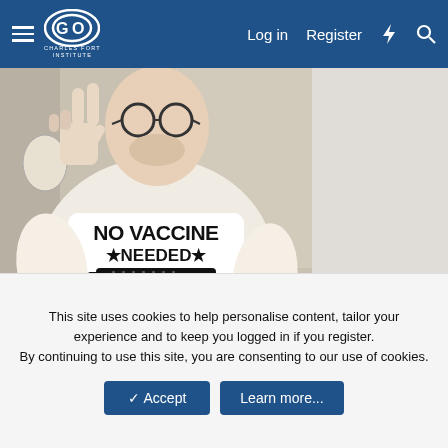Charles Fort Institute — Log in | Register
[Figure (photo): A man in a white t-shirt reading 'NO VACCINE NEEDED ★NEEDED★ [syringe graphic] ★I HAVE AN★ IMMUNE SYSTEM' making a peace sign in a bathroom mirror selfie]
This site uses cookies to help personalise content, tailor your experience and to keep you logged in if you register.
By continuing to use this site, you are consenting to our use of cookies.
✓ Accept   Learn more...